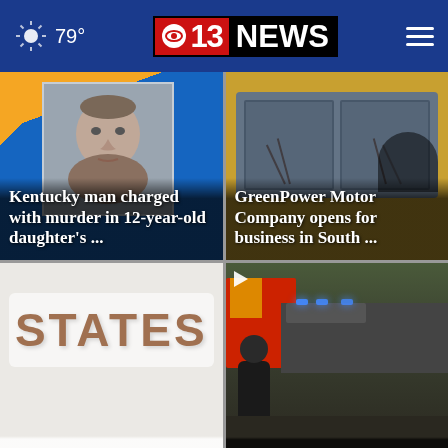79° | CBS 13 NEWS
[Figure (photo): Mugshot of a middle-aged man on a blue and yellow background with CBS 13 News logo overlay. Headline: Kentucky man charged with murder in 12-year-old daughter's ...]
[Figure (photo): School bus windshield view from outside. Headline: GreenPower Motor Company opens for business in South ...]
[Figure (photo): Building sign showing the word STATES. Partial headline visible at bottom.]
[Figure (photo): Emergency scene with fire truck, police cars with blue lights, and an officer in foreground. Play button icon visible. Partial headline visible at bottom.]